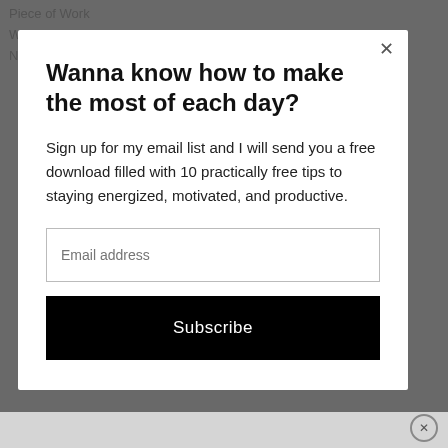Piece of Work
Wednesday Link Party
Number 27!
Wanna know how to make the most of each day?
Sign up for my email list and I will send you a free download filled with 10 practically free tips to staying energized, motivated, and productive.
Email address
Subscribe